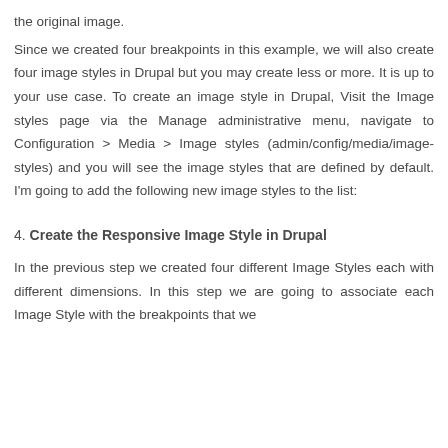the original image.
Since we created four breakpoints in this example, we will also create four image styles in Drupal but you may create less or more. It is up to your use case. To create an image style in Drupal, Visit the Image styles page via the Manage administrative menu, navigate to Configuration > Media > Image styles (admin/config/media/image-styles) and you will see the image styles that are defined by default. I'm going to add the following new image styles to the list:
4. Create the Responsive Image Style in Drupal
In the previous step we created four different Image Styles each with different dimensions. In this step we are going to associate each Image Style with the breakpoints that we